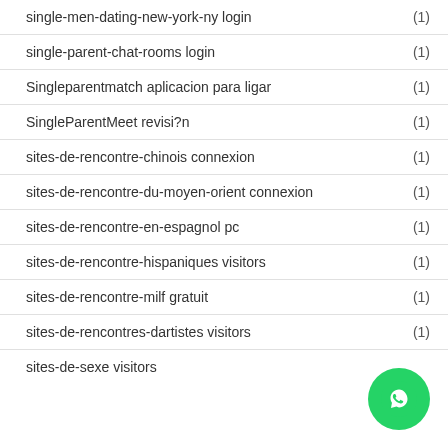single-men-dating-new-york-ny login (1)
single-parent-chat-rooms login (1)
Singleparentmatch aplicacion para ligar (1)
SingleParentMeet revisi?n (1)
sites-de-rencontre-chinois connexion (1)
sites-de-rencontre-du-moyen-orient connexion (1)
sites-de-rencontre-en-espagnol pc (1)
sites-de-rencontre-hispaniques visitors (1)
sites-de-rencontre-milf gratuit (1)
sites-de-rencontres-dartistes visitors (1)
sites-de-sexe visitors